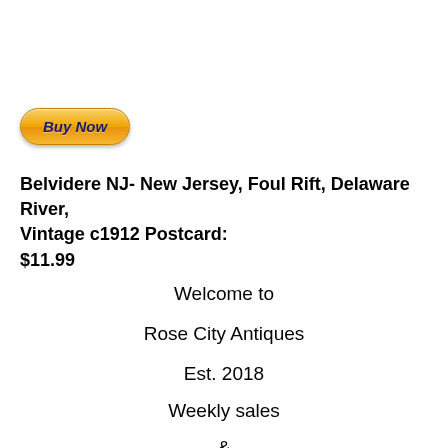[Figure (other): PayPal Buy Now button — orange gradient rounded rectangle with italic bold dark blue text 'Buy Now']
Belvidere NJ- New Jersey, Foul Rift, Delaware River, Vintage c1912 Postcard: $11.99
Welcome to
Rose City Antiques
Est. 2018
Weekly sales
&
FullyStockedStore